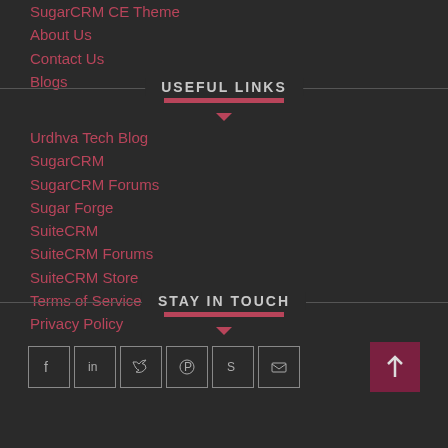SugarCRM CE Theme
About Us
Contact Us
Blogs
USEFUL LINKS
Urdhva Tech Blog
SugarCRM
SugarCRM Forums
Sugar Forge
SuiteCRM
SuiteCRM Forums
SuiteCRM Store
Terms of Service
Privacy Policy
STAY IN TOUCH
[Figure (infographic): Social media icons: Facebook, LinkedIn, Twitter, Pinterest, Skype, Email - and a back-to-top arrow button]